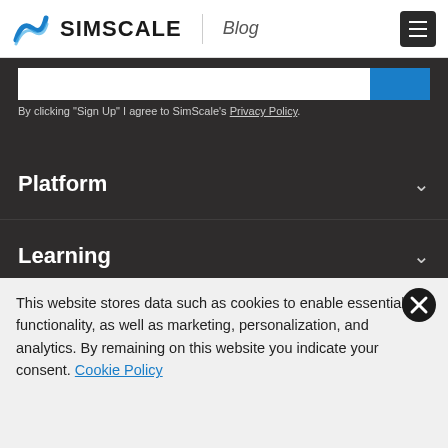SIMSCALE Blog
By clicking "Sign Up" I agree to SimScale's Privacy Policy.
Platform
Learning
Community
About
This website stores data such as cookies to enable essential site functionality, as well as marketing, personalization, and analytics. By remaining on this website you indicate your consent. Cookie Policy